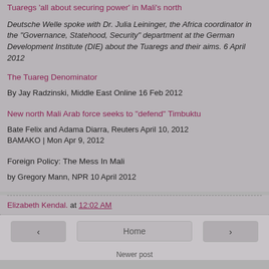Tuaregs 'all about securing power' in Mali's north
Deutsche Welle spoke with Dr. Julia Leininger, the Africa coordinator in the "Governance, Statehood, Security" department at the German Development Institute (DIE) about the Tuaregs and their aims. 6 April 2012
The Tuareg Denominator
By Jay Radzinski, Middle East Online 16 Feb 2012
New north Mali Arab force seeks to "defend" Timbuktu
Bate Felix and Adama Diarra, Reuters April 10, 2012
BAMAKO | Mon Apr 9, 2012
Foreign Policy: The Mess In Mali
by Gregory Mann, NPR 10 April 2012
Elizabeth Kendal. at 12:02 AM
‹   Home   ›